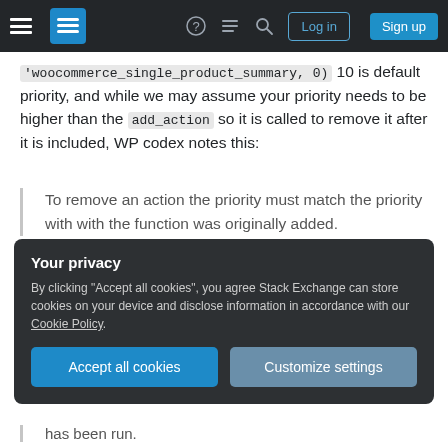Stack Exchange navigation bar with hamburger menu, logo, icons, Log in and Sign up buttons
'woocommerce_single_product_summary, 0) 10 is default priority, and while we may assume your priority needs to be higher than the add_action so it is called to remove it after it is included, WP codex notes this:
To remove an action the priority must match the priority with with the function was originally added.
Your privacy
By clicking "Accept all cookies", you agree Stack Exchange can store cookies on your device and disclose information in accordance with our Cookie Policy.
Accept all cookies   Customize settings
has been run.